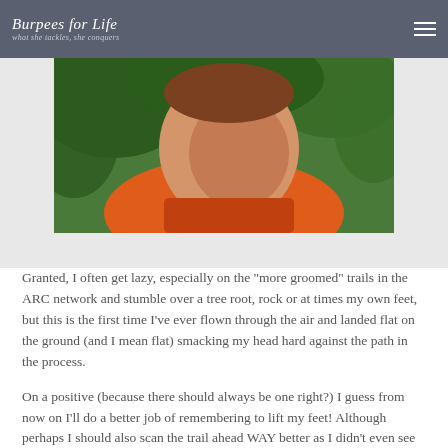Burpees for Life — what she tackles, she conquers
[Figure (photo): Close-up photo of a person's face wearing an orange jacket, surrounded by green foliage]
Granted, I often get lazy, especially on the "more groomed" trails in the ARC network and stumble over a tree root, rock or at times my own feet, but this is the first time I've ever flown through the air and landed flat on the ground (and I mean flat) smacking my head hard against the path in the process.
On a positive (because there should always be one right?) I guess from now on I'll do a better job of remembering to lift my feet! Although perhaps I should also scan the trail ahead WAY better as I didn't even see the large tree root that I managed to trip over until dazed and confused I looked back asking "how the fuck did that happen?"
I would however like it noted that the tree root was VERY WELL